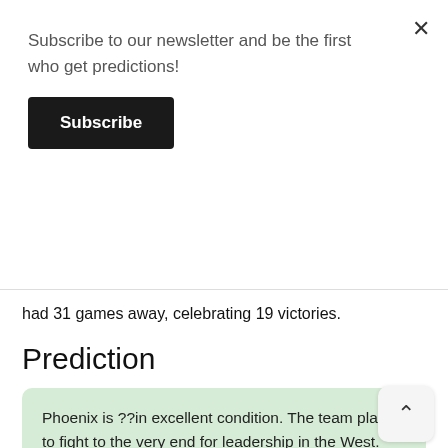Subscribe to our newsletter and be the first who get predictions!
Subscribe
had 31 games away, celebrating 19 victories.
Prediction
Phoenix is ??in excellent condition. The team plans to fight to the very end for leadership in the West. Los Angeles also does not graze the back. Most likely "hairdressers" will not drop out of the top three of the conference. In the face-to-face duel, the "suns" will win. Williams' guys are good at home, so they will be able to defeat the Clippers, thereby increasing the lead.
Our prediction is a win of Phoenix Suns with a